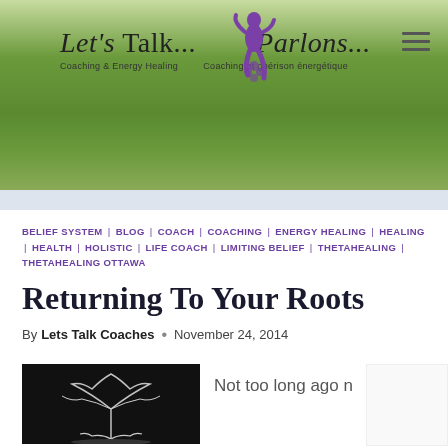[Figure (logo): Let's Talk... Parlons... Coaching & Energy Healing / Coaching et guérison énergétique logo with purple dancing figure, on a green gradient banner]
BELIEF SYSTEM | BLOG | COACH | COACHING | ENERGY HEALING | HEALING | HEALTH | HOLISTIC | LIFE COACH | LIMITING BELIEF | THETAHEALING | THETAHEALING OTTAWA
Returning To Your Roots
By Lets Talk Coaches • November 24, 2014
[Figure (photo): Black and white photo of tree roots/branches at bottom left of page]
Not too long ago n